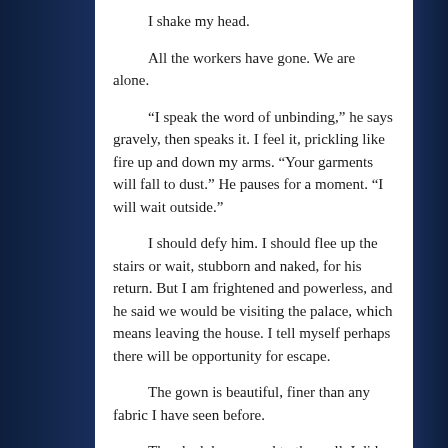I shake my head.
All the workers have gone. We are alone.
“I speak the word of unbinding,” he says gravely, then speaks it. I feel it, prickling like fire up and down my arms. “Your garments will fall to dust.” He pauses for a moment. “I will wait outside.”
I should defy him. I should flee up the stairs or wait, stubborn and naked, for his return. But I am frightened and powerless, and he said we would be visiting the palace, which means leaving the house. I tell myself perhaps there will be opportunity for escape.
The gown is beautiful, finer than any fabric I have seen before.
The clock has moved to the wall. I did not see it move, but now it is there, beside the door, keeping